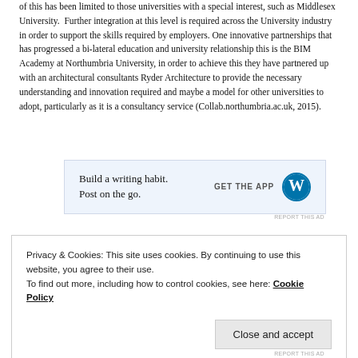of this has been limited to those universities with a special interest, such as Middlesex University. Further integration at this level is required across the University industry in order to support the skills required by employers. One innovative partnerships that has progressed a bi-lateral education and university relationship this is the BIM Academy at Northumbria University, in order to achieve this they have partnered up with an architectural consultants Ryder Architecture to provide the necessary understanding and innovation required and maybe a model for other universities to adopt, particularly as it is a consultancy service (Collab.northumbria.ac.uk, 2015).
[Figure (other): Advertisement banner: 'Build a writing habit. Post on the go.' with 'GET THE APP' call to action and WordPress logo]
Privacy & Cookies: This site uses cookies. By continuing to use this website, you agree to their use.
To find out more, including how to control cookies, see here: Cookie Policy
Close and accept